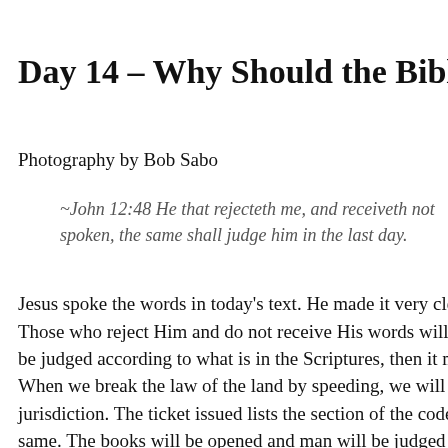Day 14 – Why Should the Bible b
Photography by Bob Sabo
~John 12:48 He that rejecteth me, and receiveth not spoken, the same shall judge him in the last day.
Jesus spoke the words in today's text. He made it very clear t Those who reject Him and do not receive His words will be be judged according to what is in the Scriptures, then it must
When we break the law of the land by speeding, we will be ju jurisdiction. The ticket issued lists the section of the code o same. The books will be opened and man will be judged a